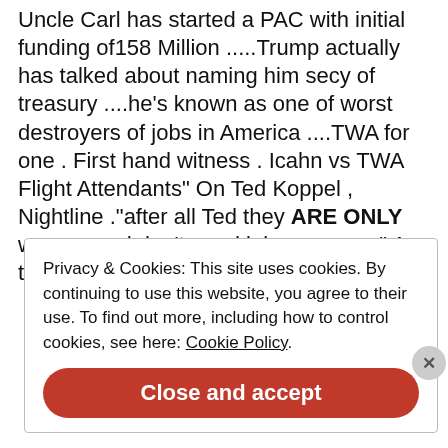Uncle Carl has started a PAC with initial funding of158 Million .....Trump actually has talked about naming him secy of treasury ....he's known as one of worst destroyers of jobs in America ....TWA for one . First hand witness . Icahn vs TWA Flight Attendants" On Ted Koppel , Nightline ."after all Ted they ARE ONLY women and don't need jobs anyway ." Any thoughts ??????
Privacy & Cookies: This site uses cookies. By continuing to use this website, you agree to their use. To find out more, including how to control cookies, see here: Cookie Policy
Close and accept